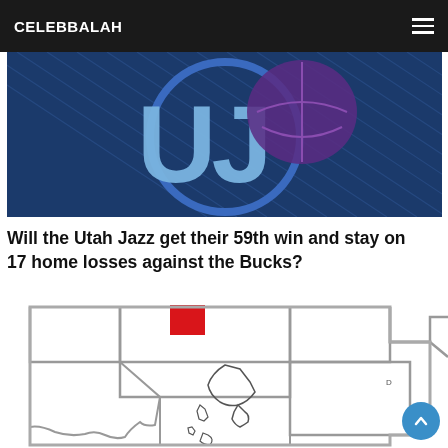CELEBBALAH
[Figure (logo): Utah Jazz NBA team logo on dark blue diagonal-striped background]
Will the Utah Jazz get their 59th win and stay on 17 home losses against the Bucks?
[Figure (map): County or regional map with grid-like divisions, one small red rectangle highlighted in the upper-center area]